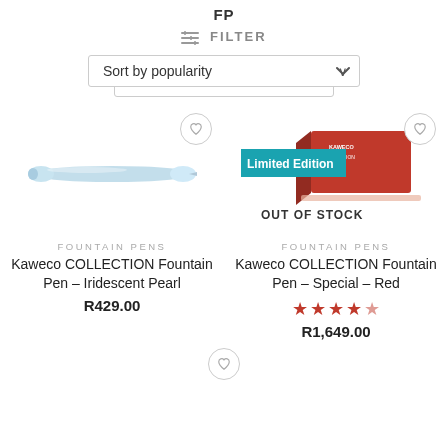FP
≡ FILTER
Sort by popularity
[Figure (photo): Light blue fountain pen (Kaweco COLLECTION Iridescent Pearl)]
FOUNTAIN PENS
Kaweco COLLECTION Fountain Pen – Iridescent Pearl
R429.00
[Figure (photo): Kaweco COLLECTION red box product with 'Limited Edition' teal badge and 'OUT OF STOCK' overlay]
FOUNTAIN PENS
Kaweco COLLECTION Fountain Pen – Special – Red
R1,649.00